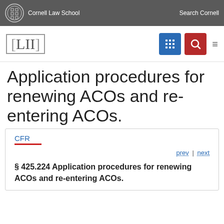Cornell Law School  Search Cornell
[Figure (logo): LII (Legal Information Institute) logo with Cornell Law School branding]
Application procedures for renewing ACOs and re-entering ACOs.
CFR
prev | next
§ 425.224 Application procedures for renewing ACOs and re-entering ACOs.